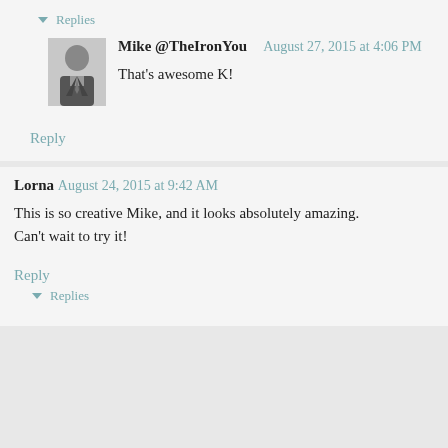▾ Replies
Mike @TheIronYou  August 27, 2015 at 4:06 PM
That's awesome K!
Reply
Lorna  August 24, 2015 at 9:42 AM
This is so creative Mike, and it looks absolutely amazing. Can't wait to try it!
Reply
▾ Replies